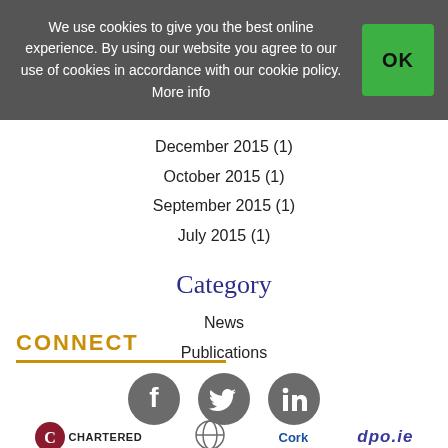We use cookies to give you the best online experience. By using our website you agree to our use of cookies in accordance with our cookie policy. More info
December 2015 (1)
October 2015 (1)
September 2015 (1)
July 2015 (1)
Category
News
Publications
CONNECT
[Figure (infographic): Social media icons: Facebook, Twitter, LinkedIn (grey circles)]
[Figure (logo): Footer logos: Chartered (dark red circle with C), Cork, dpo.ie]